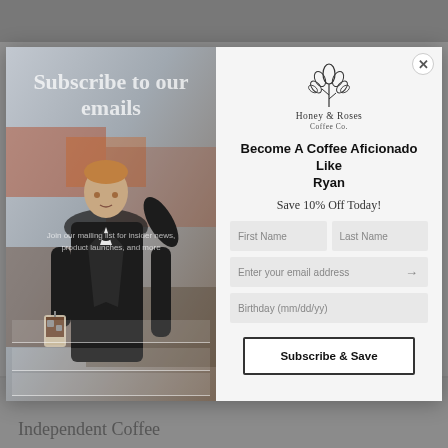[Figure (screenshot): Website popup modal for email subscription. Left side shows a photo of a man in a suit holding an iced coffee drink in front of graffiti wall, with overlay text 'Subscribe to our emails'. Right side shows a form with Honey & Roses Coffee Co. logo, headline 'Become A Coffee Aficionado Like Ryan', 'Save 10% Off Today!', input fields for First Name, Last Name, email address, Birthday, and a Subscribe & Save button.]
Subscribe to our emails
Become A Coffee Aficionado Like Ryan
Save 10% Off Today!
First Name
Last Name
Enter your email address
Birthday (mm/dd/yy)
Subscribe & Save
Quick links
Independent Coffee